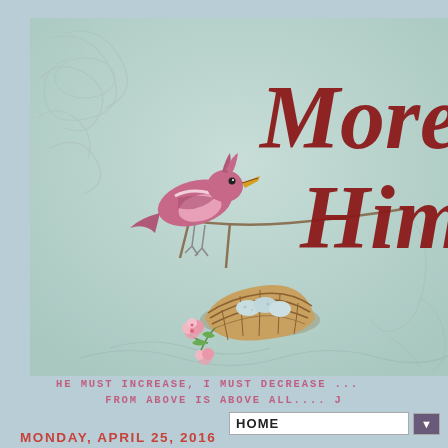[Figure (illustration): Blog header banner with vintage aesthetic: light teal/mint background with ornate gray scroll flourishes, a pink/magenta bird perched on a branch, a woven bird's nest with eggs below, pink blossoms, and large dark red cursive text reading 'More [of] Him' (partially cropped)]
HE MUST INCREASE, I MUST DECREASE ... FROM ABOVE IS ABOVE ALL.... J
HOME (navigation dropdown)
MONDAY, APRIL 25, 2016